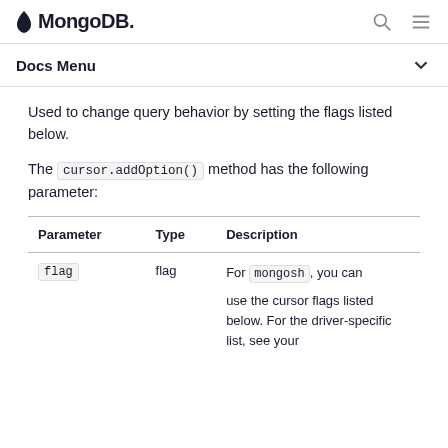MongoDB
Docs Menu
Used to change query behavior by setting the flags listed below.
The cursor.addOption() method has the following parameter:
| Parameter | Type | Description |
| --- | --- | --- |
| flag | flag | For mongosh, you can use the cursor flags listed below. For the driver-specific list, see your |